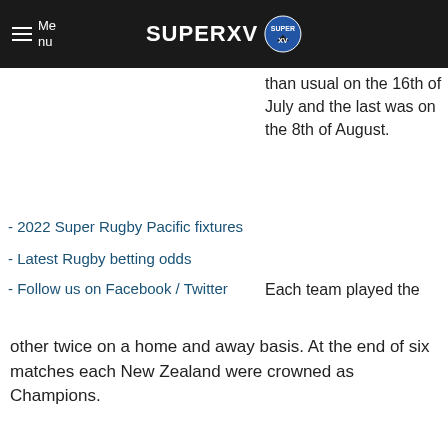Menu | SUPERXV
than usual on the 16th of July and the last was on the 8th of August.
- 2022 Super Rugby Pacific fixtures
- Latest Rugby betting odds
- Follow us on Facebook / Twitter
Each team played the other twice on a home and away basis. At the end of six matches each New Zealand were crowned as Champions.
| Team | Score | vs | Team | Score | Date | Venue | Match Referee |
| --- | --- | --- | --- | --- | --- | --- | --- |
ROUND 1